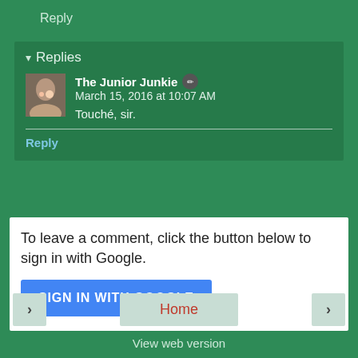Reply
Replies
The Junior Junkie ✏ March 15, 2016 at 10:07 AM
Touché, sir.
Reply
To leave a comment, click the button below to sign in with Google.
SIGN IN WITH GOOGLE
Home
View web version